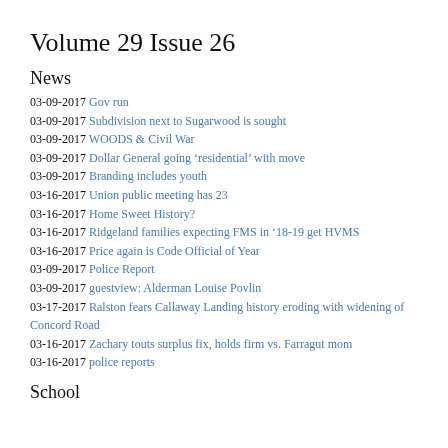Volume 29 Issue 26
News
03-09-2017 Gov run
03-09-2017 Subdivision next to Sugarwood is sought
03-09-2017 WOODS & Civil War
03-09-2017 Dollar General going ‘residential’ with move
03-09-2017 Branding includes youth
03-16-2017 Union public meeting has 23
03-16-2017 Home Sweet History?
03-16-2017 Ridgeland families expecting FMS in ’18-19 get HVMS
03-16-2017 Price again is Code Official of Year
03-09-2017 Police Report
03-09-2017 guestview: Alderman Louise Povlin
03-17-2017 Ralston fears Callaway Landing history eroding with widening of Concord Road
03-16-2017 Zachary touts surplus fix, holds firm vs. Farragut mom
03-16-2017 police reports
School